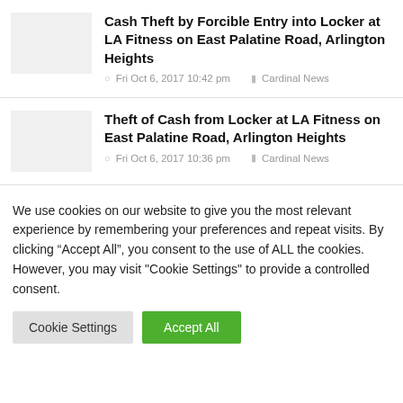Cash Theft by Forcible Entry into Locker at LA Fitness on East Palatine Road, Arlington Heights
Fri Oct 6, 2017 10:42 pm  Cardinal News
Theft of Cash from Locker at LA Fitness on East Palatine Road, Arlington Heights
Fri Oct 6, 2017 10:36 pm  Cardinal News
We use cookies on our website to give you the most relevant experience by remembering your preferences and repeat visits. By clicking “Accept All”, you consent to the use of ALL the cookies. However, you may visit "Cookie Settings" to provide a controlled consent.